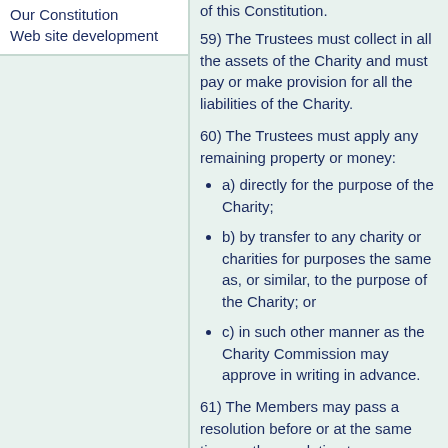Our Constitution
Web site development
of this Constitution.
59) The Trustees must collect in all the assets of the Charity and must pay or make provision for all the liabilities of the Charity.
60) The Trustees must apply any remaining property or money:
a) directly for the purpose of the Charity;
b) by transfer to any charity or charities for purposes the same as, or similar, to the purpose of the Charity; or
c) in such other manner as the Charity Commission may approve in writing in advance.
61) The Members may pass a resolution before or at the same time as the resolution to